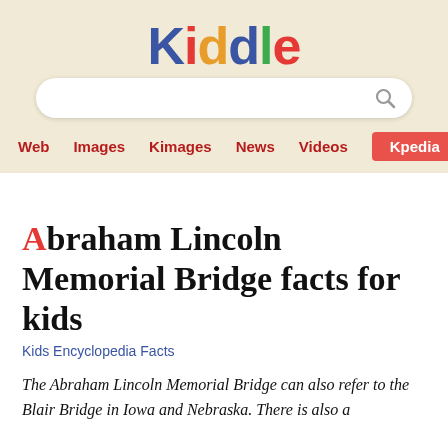Kiddle
Web  Images  Kimages  News  Videos  Kpedia
Abraham Lincoln Memorial Bridge facts for kids
Kids Encyclopedia Facts
The Abraham Lincoln Memorial Bridge can also refer to the Blair Bridge in Iowa and Nebraska. There is also a